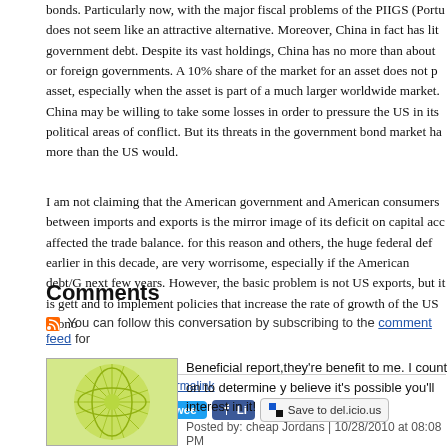bonds. Particularly now, with the major fiscal problems of the PIIGS (Portu... does not seem like an attractive alternative. Moreover, China in fact has lit... government debt. Despite its vast holdings, China has no more than about... or foreign governments. A 10% share of the market for an asset does not p... asset, especially when the asset is part of a much larger worldwide market... China may be willing to take some losses in order to pressure the US in its... political areas of conflict. But its threats in the government bond market ha... more than the US would.
I am not claiming that the American government and American consumers... between imports and exports is the mirror image of its deficit on capital acc... affected the trade balance. for this reason and others, the huge federal def... earlier in this decade, are very worrisome, especially if the American debt/... next few years. However, the basic problem is not US exports, but it is gett... and to implement policies that increase the rate of growth of the US econo...
Posted at 05:17 PM | Permalink
[Figure (screenshot): Social sharing buttons: Reblog (0), Tweet, Like (Facebook), Save to del.icio.us]
Comments
You can follow this conversation by subscribing to the comment feed for...
[Figure (illustration): Green sunburst/leaf avatar icon for commenter cheap Jordans]
Beneficial report,they're benefit to me. I count on to determine y... believe it's possible you'll interest in it!
Posted by: cheap Jordans | 10/28/2010 at 08:08 PM